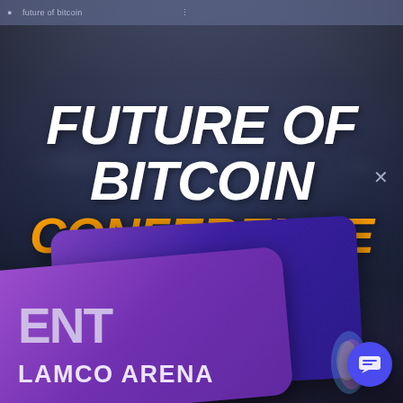FUTURE OF BITCOIN CONFERENCE
ENT
LAMCO ARENA